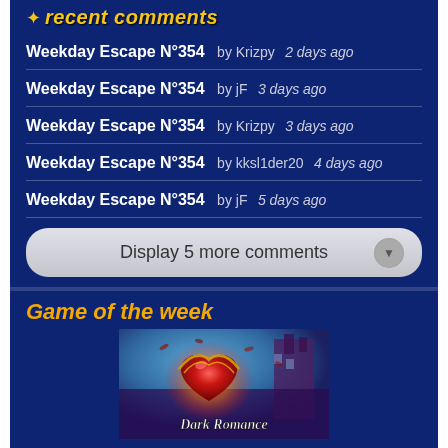recent comments
Weekday Escape N°354  by Krizpy  2 days ago
Weekday Escape N°354  by jF  3 days ago
Weekday Escape N°354  by Krizpy  3 days ago
Weekday Escape N°354  by kksl1der20  4 days ago
Weekday Escape N°354  by jF  5 days ago
Display 5 more comments
Game of the week
[Figure (illustration): Dark Romance game cover art showing a glowing red heart with gold chain on a fantasy background with the text 'Dark Romance']